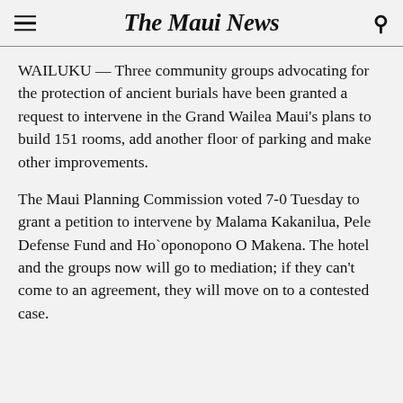The Maui News
WAILUKU — Three community groups advocating for the protection of ancient burials have been granted a request to intervene in the Grand Wailea Maui's plans to build 151 rooms, add another floor of parking and make other improvements.
The Maui Planning Commission voted 7-0 Tuesday to grant a petition to intervene by Malama Kakanilua, Pele Defense Fund and Ho`oponopono O Makena. The hotel and the groups now will go to mediation; if they can't come to an agreement, they will move on to a contested case.